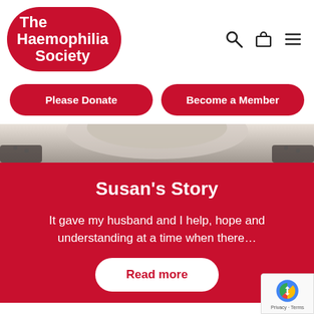[Figure (logo): The Haemophilia Society logo — red blob shape with white bold text reading 'The Haemophilia Society']
[Figure (other): Navigation icons: search magnifying glass, shopping bag, and hamburger menu lines]
Please Donate
Become a Member
[Figure (photo): Partial photo showing top of a person's head with blonde/grey hair and dark clothing]
Susan's Story
It gave my husband and I help, hope and understanding at a time when there...
Read more
[Figure (other): Google reCAPTCHA badge with recycling arrow logo and 'Privacy · Terms' text]